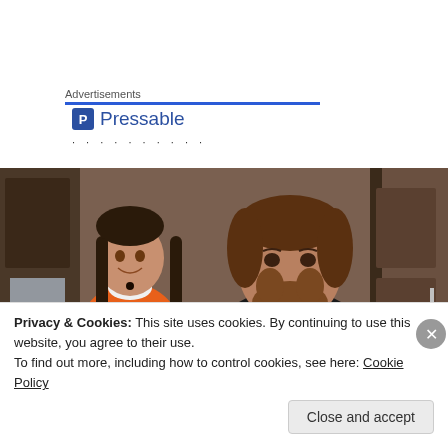Advertisements
[Figure (logo): Pressable logo with blue shield icon and text 'Pressable' followed by decorative dots]
[Figure (photo): Two people in an indoor setting — a young woman in an orange top with braids on the left, and a bearded man in a black shirt in the center-right foreground]
Privacy & Cookies: This site uses cookies. By continuing to use this website, you agree to their use.
To find out more, including how to control cookies, see here: Cookie Policy
Close and accept